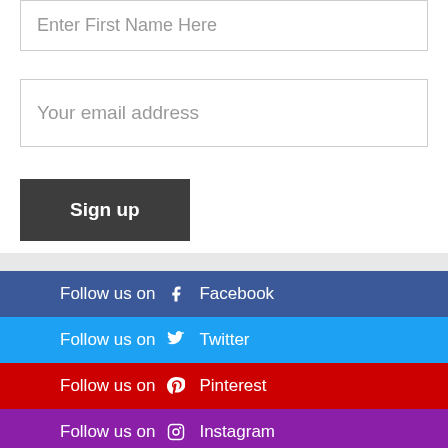Enter First Name Here
Your email address
Sign up
Follow us on  Facebook
Follow us on  Twitter
Follow us on  Pinterest
Follow us on  Instagram